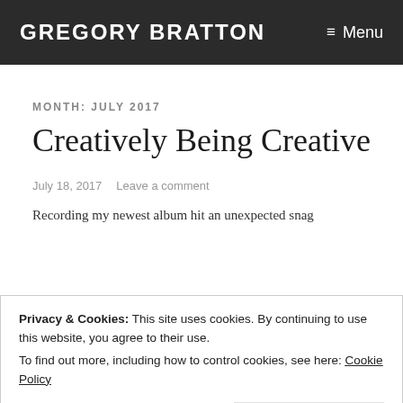GREGORY BRATTON  ≡ Menu
MONTH: JULY 2017
Creatively Being Creative
July 18, 2017   Leave a comment
Recording my newest album hit an unexpected snag
Privacy & Cookies: This site uses cookies. By continuing to use this website, you agree to their use.
To find out more, including how to control cookies, see here: Cookie Policy
[Close and accept]